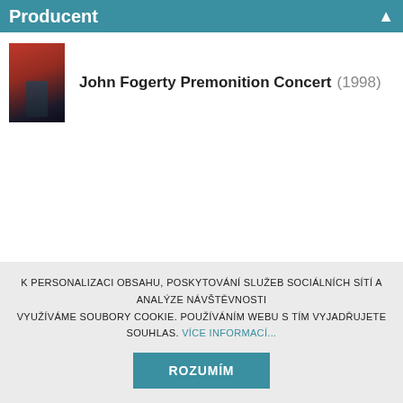Producent
John Fogerty Premonition Concert (1998)
K PERSONALIZACI OBSAHU, POSKYTOVÁNÍ SLUŽEB SOCIÁLNÍCH SÍTÍ A ANALÝZE NÁVŠTĚVNOSTI VYUŽÍVÁME SOUBORY COOKIE. POUŽÍVÁNÍM WEBU S TÍM VYJADŘUJETE SOUHLAS. VÍCE INFORMACÍ...
ROZUMÍM